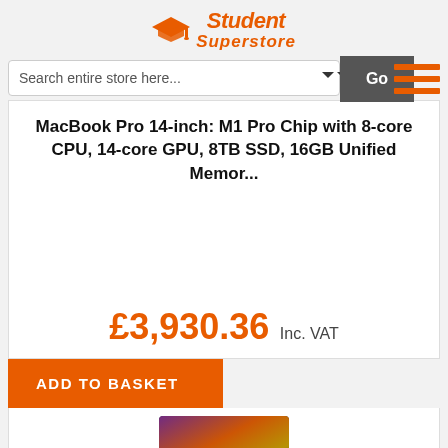[Figure (logo): Student Superstore logo with orange graduation cap icon and orange italic text]
Search entire store here...
Go
MacBook Pro 14-inch: M1 Pro Chip with 8-core CPU, 14-core GPU, 8TB SSD, 16GB Unified Memor...
£3,930.36 Inc. VAT
ADD TO BASKET
[Figure (photo): MacBook Pro laptop showing colorful display, partially visible]